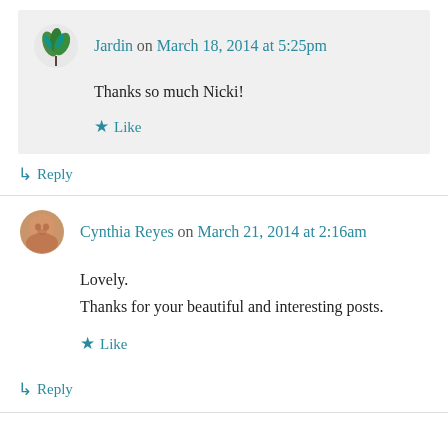Jardin on March 18, 2014 at 5:25pm
Thanks so much Nicki!
Like
Reply
Cynthia Reyes on March 21, 2014 at 2:16am
Lovely.
Thanks for your beautiful and interesting posts.
Like
Reply